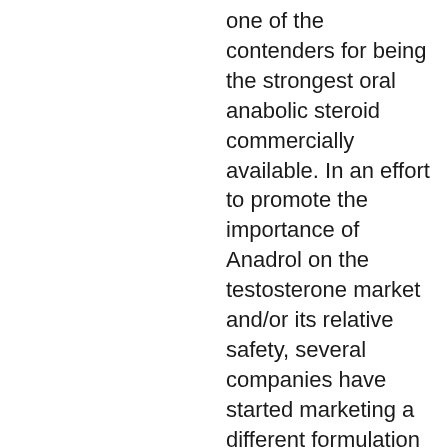one of the contenders for being the strongest oral anabolic steroid commercially available. In an effort to promote the importance of Anadrol on the testosterone market and/or its relative safety, several companies have started marketing a different formulation of Anadrol to men. This new version of Anadrol, known as Anadrol XR, is manufactured by a company called Etonik Pharmaceuticals in Canada, crazy bulk decaduro. The company markets this formulation exclusively in Canada with a minimum shelf life of 2 years as per their website. The product's official product label states: "Anadrol XR is the original Anadrol formulation that was first introduced 25 years ago to the marketplace, sct stack ultimate italia. Its key components have not changed over the years, and Anadrol XR is a highly